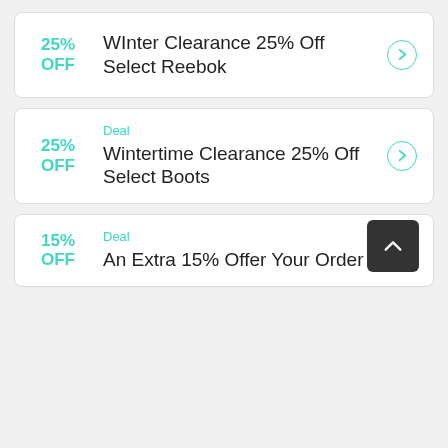25% OFF
Winter Clearance 25% Off Select Reebok
Deal
25% OFF
Wintertime Clearance 25% Off Select Boots
Deal
15% OFF
An Extra 15% Offer Your Order